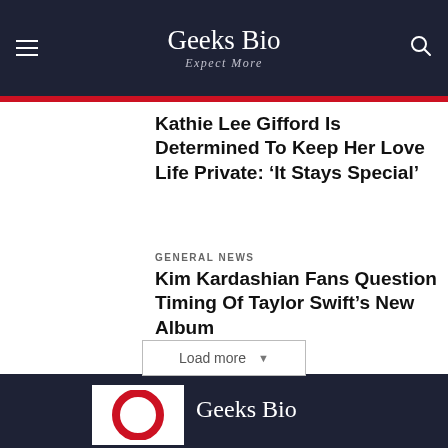Geeks Bio
Expect More
Kathie Lee Gifford Is Determined To Keep Her Love Life Private: ‘It Stays Special’
GENERAL NEWS
Kim Kardashian Fans Question Timing Of Taylor Swift’s New Album
Load more
Geeks Bio